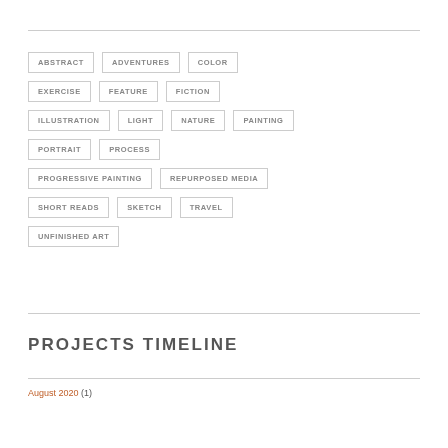ABSTRACT
ADVENTURES
COLOR
EXERCISE
FEATURE
FICTION
ILLUSTRATION
LIGHT
NATURE
PAINTING
PORTRAIT
PROCESS
PROGRESSIVE PAINTING
REPURPOSED MEDIA
SHORT READS
SKETCH
TRAVEL
UNFINISHED ART
PROJECTS TIMELINE
August 2020 (1)